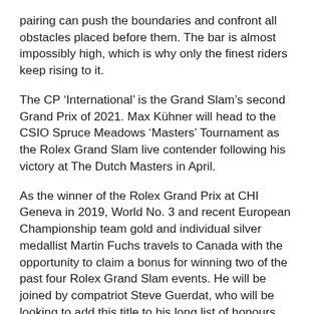pairing can push the boundaries and confront all obstacles placed before them. The bar is almost impossibly high, which is why only the finest riders keep rising to it.
The CP ‘International’ is the Grand Slam’s second Grand Prix of 2021. Max Kühner will head to the CSIO Spruce Meadows ‘Masters’ Tournament as the Rolex Grand Slam live contender following his victory at The Dutch Masters in April.
As the winner of the Rolex Grand Prix at CHI Geneva in 2019, World No. 3 and recent European Championship team gold and individual silver medallist Martin Fuchs travels to Canada with the opportunity to claim a bonus for winning two of the past four Rolex Grand Slam events. He will be joined by compatriot Steve Guerdat, who will be looking to add this title to his long list of honours, which includes individual gold at the London 2012 Olympic Games and Rolex Grand Prix victories at CHI Geneva and CHI Royal Windsor Horse Show.